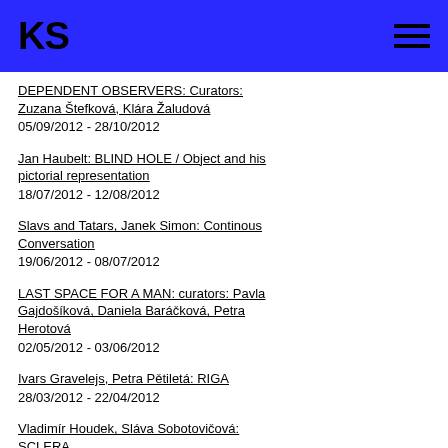KS
DEPENDENT OBSERVERS: Curators: Zuzana Štefková, Klára Žaludová
05/09/2012 - 28/10/2012
Jan Haubelt: BLIND HOLE / Object and his pictorial representation
18/07/2012 - 12/08/2012
Slavs and Tatars, Janek Simon: Continous Conversation
19/06/2012 - 08/07/2012
LAST SPACE FOR A MAN: curators: Pavla Gajdošíková, Daniela Baráčková, Petra Herotová
02/05/2012 - 03/06/2012
Ivars Gravelejs, Petra Pětiletá: RIGA
28/03/2012 - 22/04/2012
Vladimír Houdek, Sláva Sobotovičová: SCLERA
20/02/2012 - 18/03/2012